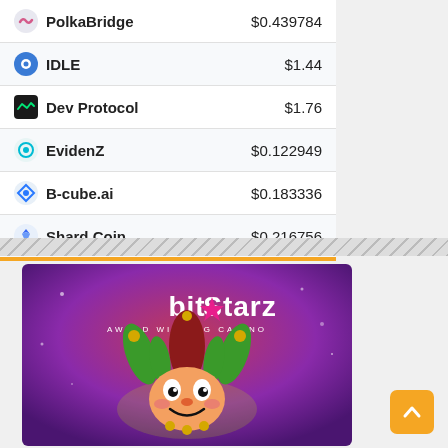| Name | Price |
| --- | --- |
| PolkaBridge | $0.439784 |
| IDLE | $1.44 |
| Dev Protocol | $1.76 |
| EvidenZ | $0.122949 |
| B-cube.ai | $0.183336 |
| Shard Coin | $0.216756 |
[Figure (illustration): BitStarz Award Winning Casino advertisement banner with a jester mascot character on a purple-pink gradient background]